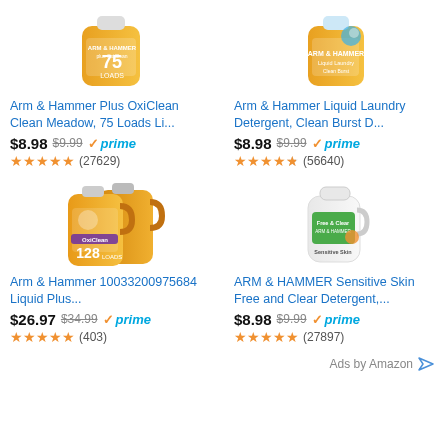[Figure (photo): Arm & Hammer Plus OxiClean Clean Meadow laundry detergent bottle, yellow/orange, 75 loads]
Arm & Hammer Plus OxiClean Clean Meadow, 75 Loads Li...
$8.98  $9.99  ✓prime
★★★★★ (27629)
[Figure (photo): Arm & Hammer Liquid Laundry Detergent Clean Burst D... bottle, yellow/orange]
Arm & Hammer Liquid Laundry Detergent, Clean Burst D...
$8.98  $9.99  ✓prime
★★★★★ (56640)
[Figure (photo): Arm & Hammer 10033200975684 Liquid Plus OxiClean 128 loads, two large orange bottles]
Arm & Hammer 10033200975684 Liquid Plus...
$26.97  $34.99  ✓prime
★★★★★ (403)
[Figure (photo): ARM & HAMMER Sensitive Skin Free and Clear Detergent white bottle]
ARM & HAMMER Sensitive Skin Free and Clear Detergent,...
$8.98  $9.99  ✓prime
★★★★★ (27897)
Ads by Amazon